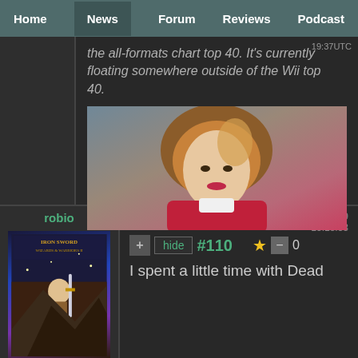Home | News | Forum | Reviews | Podcast
the all-formats chart top 40. It's currently floating somewhere outside of the Wii top 40.
19:37UTC
[Figure (photo): Photo of a young woman with short brown hair wearing a red jacket]
robio
Wed, 21 Oct 2009 13:18:53
hide #110 0
I spent a little time with Dead